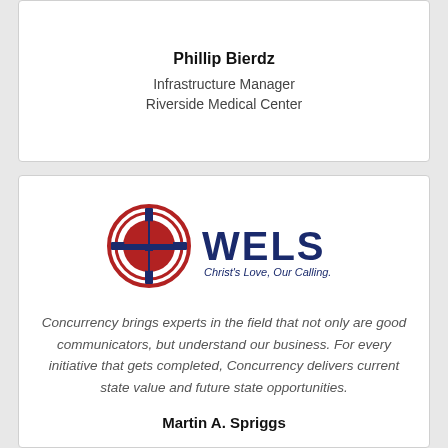Phillip Bierdz
Infrastructure Manager
Riverside Medical Center
[Figure (logo): WELS logo with cross emblem in red and dark blue, tagline: Christ's Love, Our Calling.]
Concurrency brings experts in the field that not only are good communicators, but understand our business. For every initiative that gets completed, Concurrency delivers current state value and future state opportunities.
Martin A. Spriggs